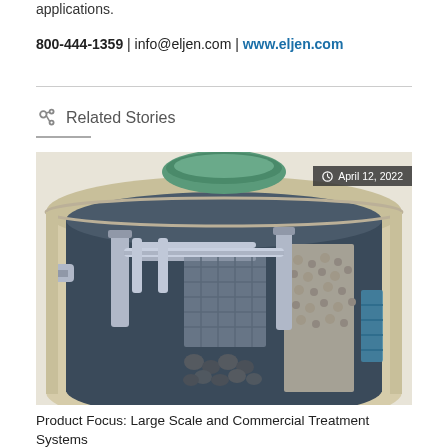applications.
800-444-1359 | info@eljen.com | www.eljen.com
Related Stories
[Figure (illustration): Cutaway/cross-section illustration of a large-scale wastewater treatment system tank, showing internal components including baffles, filter media, grid racks, piping, and gravel/aggregate layers. A green lid is visible at the top. Date badge shows April 12, 2022.]
Product Focus: Large Scale and Commercial Treatment Systems